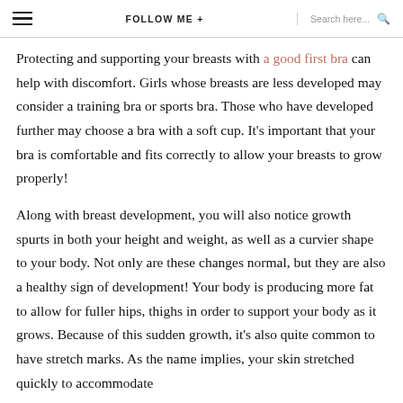≡  FOLLOW ME +  Search here...
Protecting and supporting your breasts with a good first bra can help with discomfort. Girls whose breasts are less developed may consider a training bra or sports bra. Those who have developed further may choose a bra with a soft cup. It's important that your bra is comfortable and fits correctly to allow your breasts to grow properly!
Along with breast development, you will also notice growth spurts in both your height and weight, as well as a curvier shape to your body. Not only are these changes normal, but they are also a healthy sign of development! Your body is producing more fat to allow for fuller hips, thighs in order to support your body as it grows. Because of this sudden growth, it's also quite common to have stretch marks. As the name implies, your skin stretched quickly to accommodate